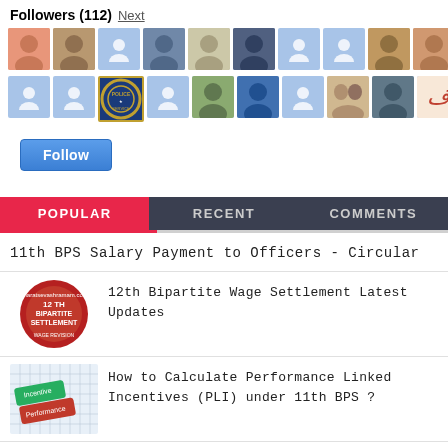Followers (112) Next
[Figure (photo): Grid of follower avatar photos and profile icons - Row 1: 11 avatars including photos and default blue person icons]
[Figure (photo): Grid of follower avatar photos and profile icons - Row 2: 10 avatars including photos, badge icon, and default blue person icons]
Follow
POPULAR   RECENT   COMMENTS
11th BPS Salary Payment to Officers - Circular
[Figure (photo): Thumbnail for 12th Bipartite Wage Settlement article - circular red badge with text]
12th Bipartite Wage Settlement Latest Updates
[Figure (photo): Thumbnail for PLI article - green and red tag labels on graph paper]
How to Calculate Performance Linked Incentives (PLI) under 11th BPS ?
[Figure (photo): Thumbnail for NPA article - red background with objects]
Know - When can Public Sector Bank Staff be Found Guilty for NPAs ?